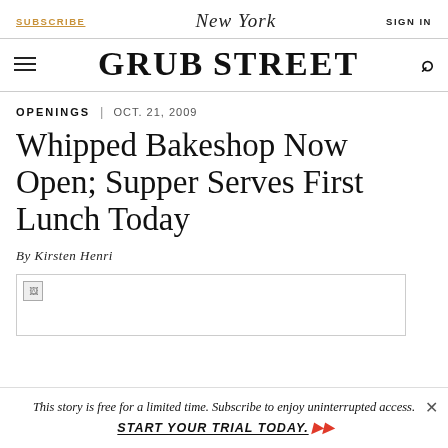SUBSCRIBE | New York | SIGN IN
GRUB STREET
OPENINGS | OCT. 21, 2009
Whipped Bakeshop Now Open; Supper Serves First Lunch Today
By Kirsten Henri
[Figure (photo): Broken image placeholder]
This story is free for a limited time. Subscribe to enjoy uninterrupted access. START YOUR TRIAL TODAY.